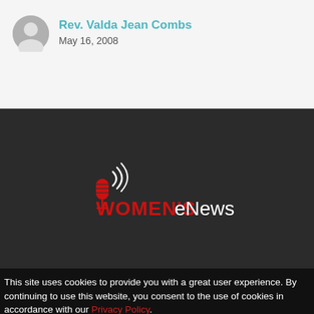Rev. Valda Jean Combs
May 16, 2008
[Figure (logo): Women's eNews logo with red microphone icon and radio waves, text 'WOMEN'S eNews' in red and white on dark background]
This site uses cookies to provide you with a great user experience. By continuing to use this website, you consent to the use of cookies in accordance with our Privacy Policy.
Accept